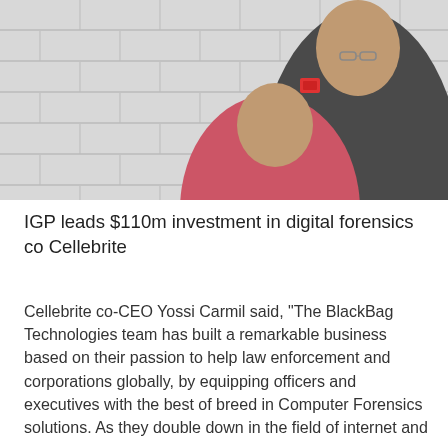[Figure (photo): Two men posing against a white tiled wall. One man on the right wearing a dark shirt standing, one man on the left wearing a pink/red shirt crouching. There is a red alarm box on the wall.]
IGP leads $110m investment in digital forensics co Cellebrite
Cellebrite co-CEO Yossi Carmil said, "The BlackBag Technologies team has built a remarkable business based on their passion to help law enforcement and corporations globally, by equipping officers and executives with the best of breed in Computer Forensics solutions. As they double down in the field of internet and